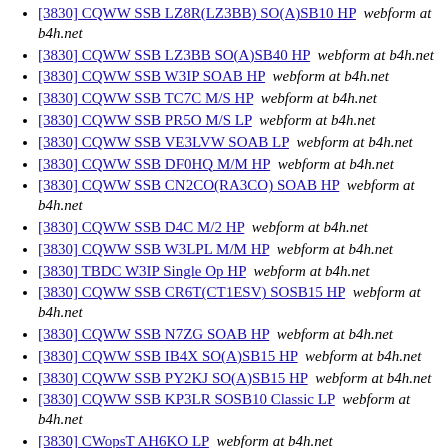[3830] CQWW SSB LZ8R(LZ3BB) SO(A)SB10 HP  webform at b4h.net
[3830] CQWW SSB LZ3BB SO(A)SB40 HP  webform at b4h.net
[3830] CQWW SSB W3IP SOAB HP  webform at b4h.net
[3830] CQWW SSB TC7C M/S HP  webform at b4h.net
[3830] CQWW SSB PR5O M/S LP  webform at b4h.net
[3830] CQWW SSB VE3LVW SOAB LP  webform at b4h.net
[3830] CQWW SSB DF0HQ M/M HP  webform at b4h.net
[3830] CQWW SSB CN2CO(RA3CO) SOAB HP  webform at b4h.net
[3830] CQWW SSB D4C M/2 HP  webform at b4h.net
[3830] CQWW SSB W3LPL M/M HP  webform at b4h.net
[3830] TBDC W3IP Single Op HP  webform at b4h.net
[3830] CQWW SSB CR6T(CT1ESV) SOSB15 HP  webform at b4h.net
[3830] CQWW SSB N7ZG SOAB HP  webform at b4h.net
[3830] CQWW SSB IB4X SO(A)SB15 HP  webform at b4h.net
[3830] CQWW SSB PY2KJ SO(A)SB15 HP  webform at b4h.net
[3830] CQWW SSB KP3LR SOSB10 Classic LP  webform at b4h.net
[3830] CWopsT AH6KO LP  webform at b4h.net